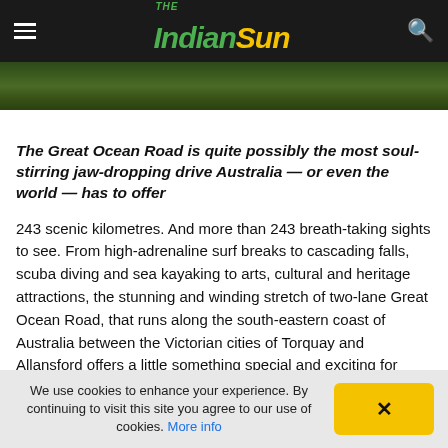The Indian Sun
[Figure (photo): Partial nature/landscape photo strip showing green foliage]
The Great Ocean Road is quite possibly the most soul-stirring jaw-dropping drive Australia — or even the world — has to offer
243 scenic kilometres. And more than 243 breath-taking sights to see. From high-adrenaline surf breaks to cascading falls, scuba diving and sea kayaking to arts, cultural and heritage attractions, the stunning and winding stretch of two-lane Great Ocean Road, that runs along the south-eastern coast of Australia between the Victorian cities of Torquay and Allansford offers a little something special and exciting for every traveller.
We use cookies to enhance your experience. By continuing to visit this site you agree to our use of cookies. More info